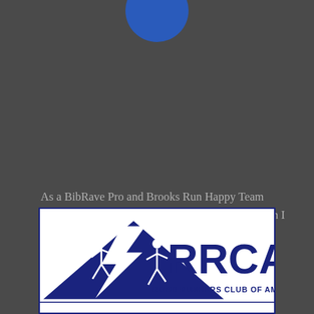[Figure (logo): Partial blue circle at the top of the page, cut off at the top edge]
As a BibRave Pro and Brooks Run Happy Team Member, I receive free products/race entries. When I am writing about items I received for free, I note that relationship.
[Figure (logo): RRCA - Road Runners Club of America logo. White background with dark navy blue triangle graphic showing two running figures and lightning bolt, with large RRCA lettering and 'ROAD RUNNERS CLUB OF AMERICA' text beneath.]